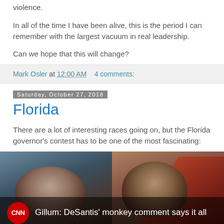violence.
In all of the time I have been alive, this is the period I can remember with the largest vacuum in real leadership.
Can we hope that this will change?
Mark Osler at 12:00 AM    4 comments:
Saturday, October 27, 2018
Florida
There are a lot of interesting races going on, but the Florida governor's contest has to be one of the most fascinating:
[Figure (screenshot): CNN news screenshot showing two men (Florida governor candidates DeSantis and Gillum) side by side, with CNN logo and headline: Gillum: DeSantis' monkey comment says it all]